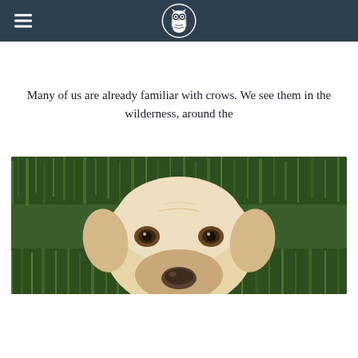Many of us are already familiar with crows. We see them in the wilderness, around the
[Figure (photo): Close-up photo of a white/cream-colored Labrador dog lying in green grass, looking up at the camera with a relaxed expression]